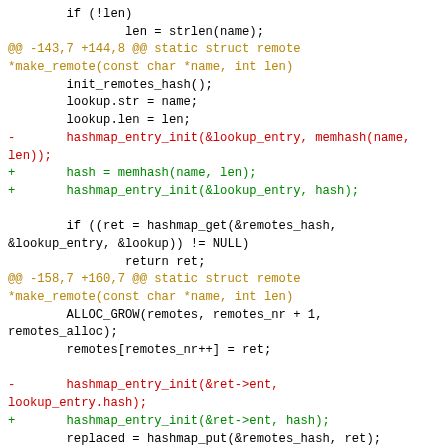Code diff showing changes to make_remote function in a C source file, including hunk headers, removed lines (red), added lines (green), and context lines (black), ending with a diff header line.